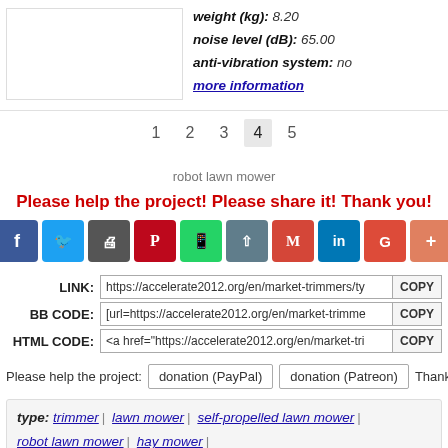weight (kg): 8.20
noise level (dB): 65.00
anti-vibration system: no
more information
1 2 3 4 5
robot lawn mower
Please help the project! Please share it! Thank you!
[Figure (infographic): Row of social share buttons: Facebook, Twitter, Print, Pinterest, WhatsApp, Share, Gmail, LinkedIn, Google+, More]
LINK: https://accelerate2012.org/en/market-trimmers/ty COPY
BB CODE: [url=https://accelerate2012.org/en/market-trimme COPY
HTML CODE: <a href="https://accelerate2012.org/en/market-tri COPY
Please help the project: donation (PayPal) donation (Patreon) Thank y
type: trimmer | lawn mower | self-propelled lawn mower | robot lawn mower | hay mower |